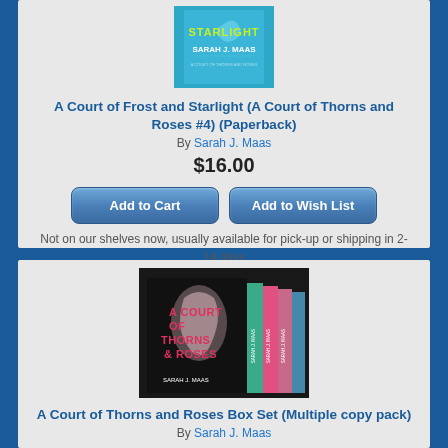[Figure (photo): Book cover of A Court of Frost and Starlight by Sarah J. Maas — teal/blue background with title text]
A Court of Frost and Starlight (A Court of Thorns and Roses #4) (Paperback)
By Sarah J. Maas
$16.00
Add to Cart
Add to Wish List
Not on our shelves now, usually available for pick-up or shipping in 2-14 days
[Figure (photo): Box set of A Court of Thorns and Roses series by Sarah J. Maas — black box with multiple colored spines visible]
A Court of Thorns and Roses Box Set (Multiple copy pack)
By Sarah J. Maas